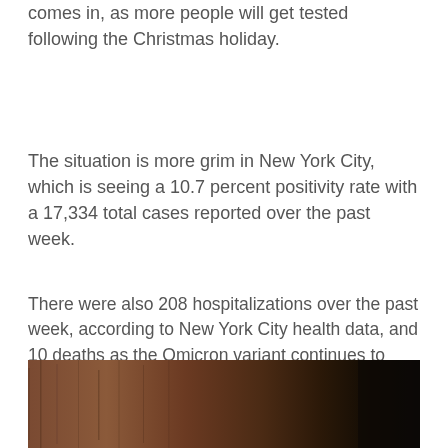comes in, as more people will get tested following the Christmas holiday.
The situation is more grim in New York City, which is seeing a 10.7 percent positivity rate with a 17,334 total cases reported over the past week.
There were also 208 hospitalizations over the past week, according to New York City health data, and 10 deaths as the Omicron variant continues to spread. It now accounts for 73 percent of cases in the U.S. according to most recent data from the Centers for Disease Control and Prevention (CDC).
[Figure (photo): Dark brown wooden background, partial view of a person at the right edge]